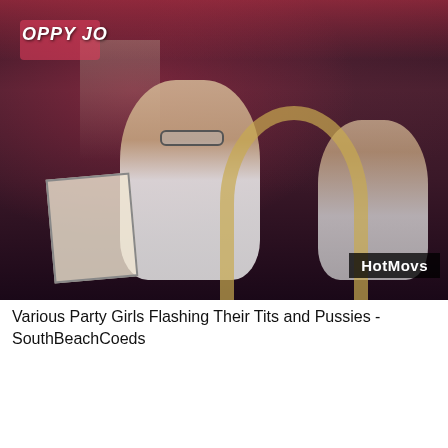[Figure (photo): Bar scene photo showing women at a nightclub/bar. A woman with glasses wearing a white tank top is visible in the center. Other people are visible in the background. Pink/red lighting and bar equipment visible. 'HotMovs' watermark in lower right corner.]
Various Party Girls Flashing Their Tits and Pussies - SouthBeachCoeds
[Figure (photo): Partial photo at bottom showing a woman against a pink/red curtain background with green foliage visible on the right side.]